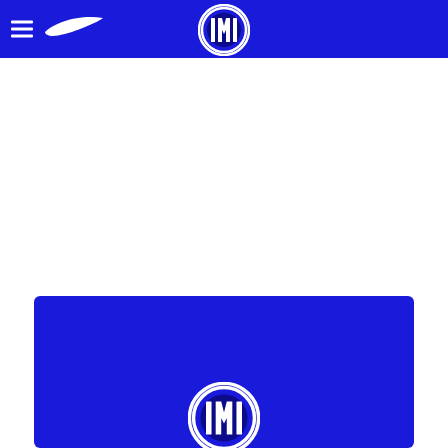Inter Milan Nike navigation header with hamburger menu, Nike swoosh logo, and Inter Milan badge
[Figure (logo): Inter Milan club crest badge centered in blue navigation header]
[Figure (logo): Blue card section at bottom showing Inter Milan badge partially visible]